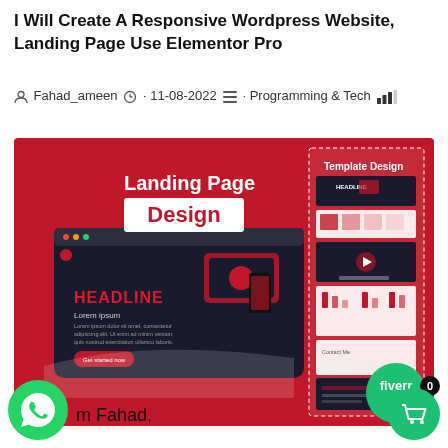I Will Create A Responsive Wordpress Website, Landing Page Use Elementor Pro
Fahad_ameen · 11-08-2022 · Programming & Tech
[Figure (screenshot): Fiverr gig image showing a landing page design mockup with red background, featuring a dark-themed website mockup with 'HEADLINE / Lorem ipsum' text, devices, 'Landing Page Design' heading in white box, and a 'Template Design' preview strip on the right. Fiverr logo in bottom right corner.]
m Fahad,